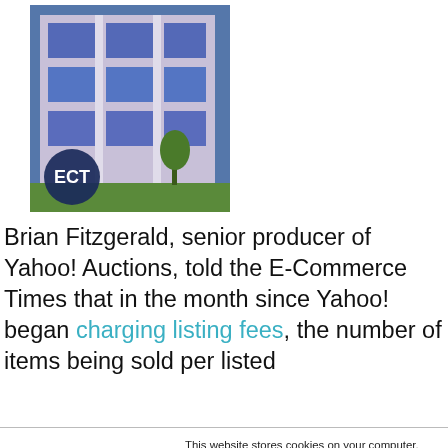[Figure (photo): Photo of a modern office building with blue glass windows and trees, ECT logo in lower left corner]
Brian Fitzgerald, senior producer of Yahoo! Auctions, told the E-Commerce Times that in the month since Yahoo! began charging listing fees, the number of items being sold per listed
This website stores cookies on your computer. These cookies are used to collect information about how you interact with our website and allow us to remember you. We use this information in order to improve and customize your browsing experience and for analytics and metrics about our visitors both on this website and other media. To find out more about the cookies we use, see our Privacy Policy. California residents have the right to direct us not to sell their personal information to third parties by filing an Opt-Out Request: Do Not Sell My Personal Info.